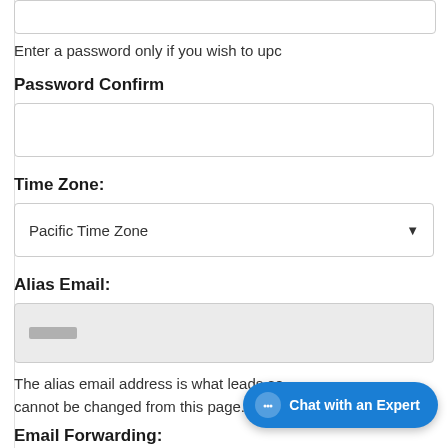Enter a password only if you wish to upc
Password Confirm
[Figure (screenshot): Empty password confirm input text box]
Time Zone:
[Figure (screenshot): Dropdown select box showing 'Pacific Time Zone' with down arrow]
Alias Email:
[Figure (screenshot): Greyed out alias email input field with redacted placeholder text]
The alias email address is what leads se cannot be changed from this page. If it n
Email Forwarding:
[Figure (screenshot): Chat with an Expert button overlay in blue]